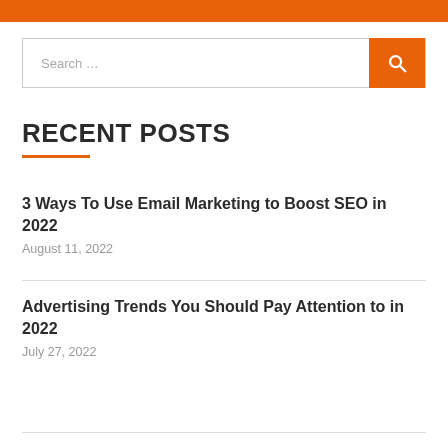Search …
RECENT POSTS
3 Ways To Use Email Marketing to Boost SEO in 2022
August 11, 2022
Advertising Trends You Should Pay Attention to in 2022
July 27, 2022